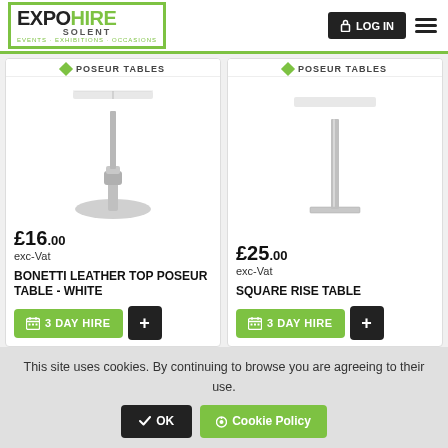[Figure (logo): Expo Hire Solent logo with green bracket frame, tagline: EVENTS · EXHIBITIONS · OCCASIONS]
[Figure (screenshot): Login button (dark background, lock icon) and hamburger menu icon]
[Figure (photo): Bonetti Leather Top Poseur Table - White product image, chrome stand on round base, price £16.00 exc-Vat]
[Figure (photo): Square Rise Table product image, chrome square-base stand, price £25.00 exc-Vat]
This site uses cookies. By continuing to browse you are agreeing to their use.